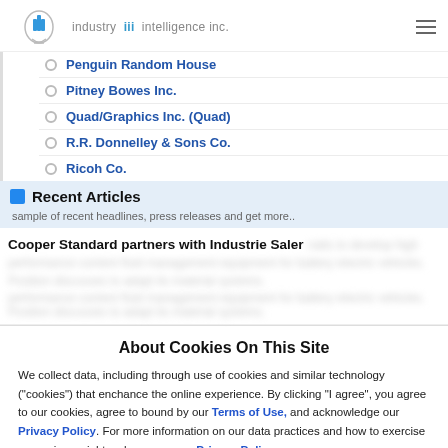industry iii intelligence inc.
Penguin Random House
Pitney Bowes Inc.
Quad/Graphics Inc. (Quad)
R.R. Donnelley & Sons Co.
Ricoh Co.
Recent Articles
sample of recent headlines, press releases and get more..
Cooper Standard partners with Industrie Saler
About Cookies On This Site
We collect data, including through use of cookies and similar technology ("cookies") that enchance the online experience. By clicking "I agree", you agree to our cookies, agree to bound by our Terms of Use, and acknowledge our Privacy Policy. For more information on our data practices and how to exercise your privacy rights, please see our Privacy Policy.
I Agree